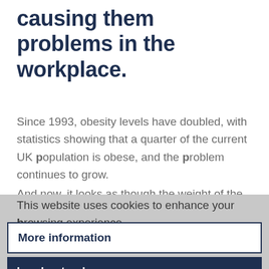causing them problems in the workplace.
Since 1993, obesity levels have doubled, with statistics showing that a quarter of the current UK population is obese, and the problem continues to grow.
And now, it looks as though the weight of the so-
This website uses cookies to enhance your browsing experience...
More information
I understand